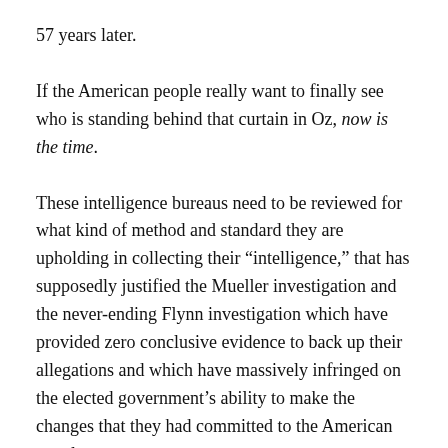57 years later.
If the American people really want to finally see who is standing behind that curtain in Oz, now is the time.
These intelligence bureaus need to be reviewed for what kind of method and standard they are upholding in collecting their “intelligence,” that has supposedly justified the Mueller investigation and the never-ending Flynn investigation which have provided zero conclusive evidence to back up their allegations and which have massively infringed on the elected government’s ability to make the changes that they had committed to the American people.
Just like the Iraq and Libya war that was based off of cooked British intelligence (refer here and here).